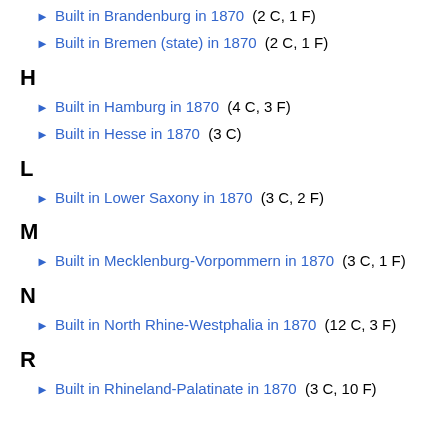Built in Brandenburg in 1870 (2 C, 1 F)
Built in Bremen (state) in 1870 (2 C, 1 F)
H
Built in Hamburg in 1870 (4 C, 3 F)
Built in Hesse in 1870 (3 C)
L
Built in Lower Saxony in 1870 (3 C, 2 F)
M
Built in Mecklenburg-Vorpommern in 1870 (3 C, 1 F)
N
Built in North Rhine-Westphalia in 1870 (12 C, 3 F)
R
Built in Rhineland-Palatinate in 1870 (3 C, 10 F)